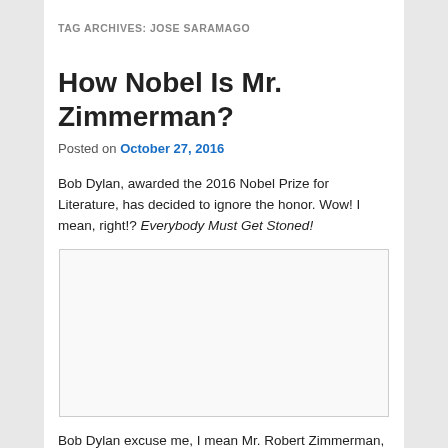TAG ARCHIVES: JOSE SARAMAGO
How Nobel Is Mr. Zimmerman?
Posted on October 27, 2016
Bob Dylan, awarded the 2016 Nobel Prize for Literature, has decided to ignore the honor. Wow! I mean, right!? Everybody Must Get Stoned!
[Figure (photo): Empty image placeholder box with light border]
Bob Dylan excuse me, I mean Mr. Robert Zimmerman, is